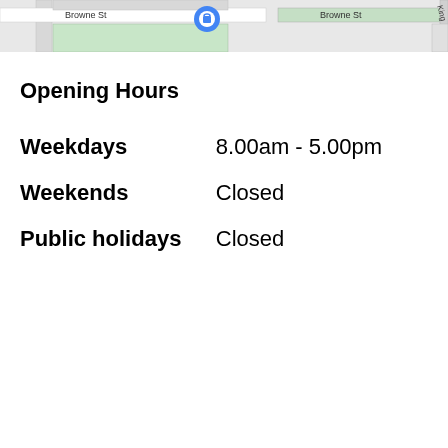[Figure (map): Google Maps street map snippet showing Browne St with a location pin marker, roads and green blocks visible]
Opening Hours
|  |  |
| --- | --- |
| Weekdays | 8.00am - 5.00pm |
| Weekends | Closed |
| Public holidays | Closed |